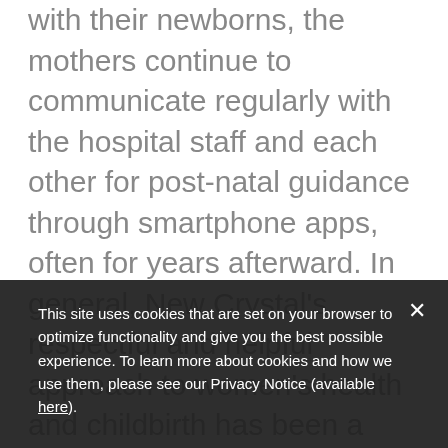with their newborns, the mothers continue to communicate regularly with the hospital staff and each other for post-natal guidance through smartphone apps, often for years afterward. In general, New Crystal's respectful and helpful approach to women's health and childbirth has been a major factor in its growth and success.

In 2019, IFC partnered in putting together a loan and equity investment package totaling $5.2 million, its first healthcare deal in Ghana. This enabled New Crystal to refinance some existing lo... ...ate and extend its clinical space and to expand the range of... ...services. The funds also enabled a renewed commitment for staff training, focused on raising
This site uses cookies that are set on your browser to optimize functionality and give you the best possible experience. To learn more about cookies and how we use them, please see our Privacy Notice (available here).